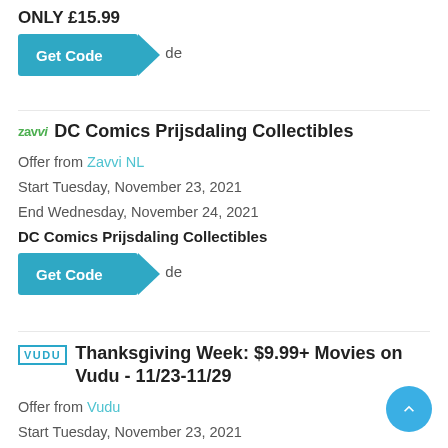ONLY £15.99
[Figure (other): Get Code button with arrow and 'de' label]
DC Comics Prijsdaling Collectibles
Offer from Zavvi NL
Start Tuesday, November 23, 2021
End Wednesday, November 24, 2021
DC Comics Prijsdaling Collectibles
[Figure (other): Get Code button with arrow and 'de' label]
Thanksgiving Week: $9.99+ Movies on Vudu - 11/23-11/29
Offer from Vudu
Start Tuesday, November 23, 2021
End Wednesday, December 01, 2021